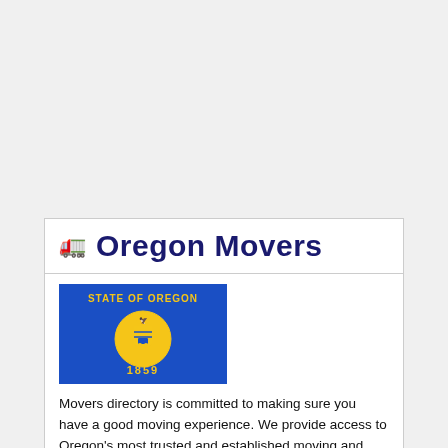🚛 Oregon Movers
[Figure (illustration): Oregon state flag — blue background with yellow text 'STATE OF OREGON' at top, state seal in center, '1859' at bottom]
Movers directory is committed to making sure you have a good moving experience. We provide access to Oregon's most trusted and established moving and auto transport services.
Whether you're relocating nearby or moving across the country, if you are looking for professional moving services, we provide one of the top sources. We recommend only the most reputable and professional moving services along with